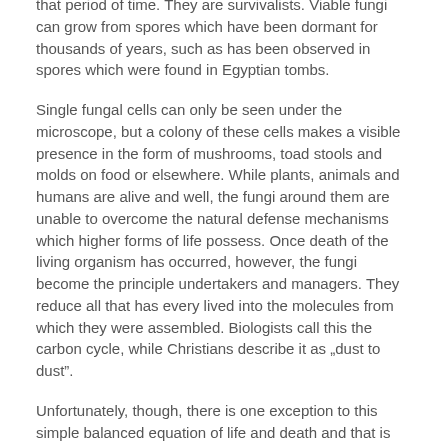that period of time. They are survivalists. Viable fungi can grow from spores which have been dormant for thousands of years, such as has been observed in spores which were found in Egyptian tombs.
Single fungal cells can only be seen under the microscope, but a colony of these cells makes a visible presence in the form of mushrooms, toad stools and molds on food or elsewhere. While plants, animals and humans are alive and well, the fungi around them are unable to overcome the natural defense mechanisms which higher forms of life possess. Once death of the living organism has occurred, however, the fungi become the principle undertakers and managers. They reduce all that has every lived into the molecules from which they were assembled. Biologists call this the carbon cycle, while Christians describe it as „dust to dust”.
Unfortunately, though, there is one exception to this simple balanced equation of life and death and that is that the fungi can also attack the living while they are alive. At its most simplistic perspective, one has many fungi entering the intestinal tract, nose and lungs, and organs exposed to the outside world. Th we generally do not develop an infection from such intrusions,